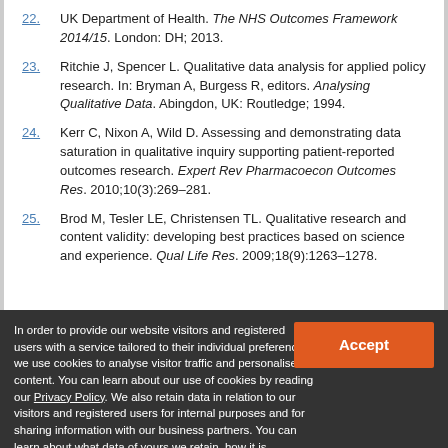22. UK Department of Health. The NHS Outcomes Framework 2014/15. London: DH; 2013.
23. Ritchie J, Spencer L. Qualitative data analysis for applied policy research. In: Bryman A, Burgess R, editors. Analysing Qualitative Data. Abingdon, UK: Routledge; 1994.
24. Kerr C, Nixon A, Wild D. Assessing and demonstrating data saturation in qualitative inquiry supporting patient-reported outcomes research. Expert Rev Pharmacoecon Outcomes Res. 2010;10(3):269–281.
25. Brod M, Tesler LE, Christensen TL. Qualitative research and content validity: developing best practices based on science and experience. Qual Life Res. 2009;18(9):1263–1278.
In order to provide our website visitors and registered users with a service tailored to their individual preferences we use cookies to analyse visitor traffic and personalise content. You can learn about our use of cookies by reading our Privacy Policy. We also retain data in relation to our visitors and registered users for internal purposes and for sharing information with our business partners. You can learn about what data of yours we retain, how it is processed, who it is shared with and your right to have your data deleted by reading our Privacy Policy.
If you agree to our use of cookies and the contents of our Privacy Policy please click 'accept'.